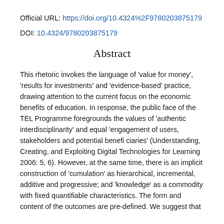Official URL: https://doi.org/10.4324%2F9780203875179
DOI: 10.4324/9780203875179
Abstract
This rhetoric invokes the language of 'value for money', 'results for investments' and 'evidence-based' practice, drawing attention to the current focus on the economic benefits of education. In response, the public face of the TEL Programme foregrounds the values of 'authentic interdisciplinarity' and equal 'engagement of users, stakeholders and potential beneficiaries' (Understanding, Creating, and Exploiting Digital Technologies for Learning 2006: 5, 6). However, at the same time, there is an implicit construction of 'cumulation' as hierarchical, incremental, additive and progressive; and 'knowledge' as a commodity with fixed quantifiable characteristics. The form and content of the outcomes are pre-defined. We suggest that